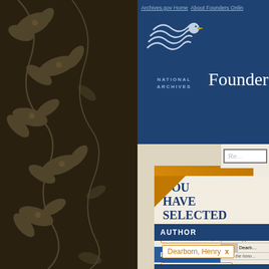[Figure (screenshot): Founders Online website header with National Archives logo and navigation]
Founders Online
YOU HAVE SELECTED
AUTHOR
Dearborn, Henry x
RECIPIENT
Jefferson, Thomas x
PERIOD
Jefferson Presidency x
Results 1-10
| No. |  |
| --- | --- |
| 1 | Dearb... |
|  | It was early per... |
| 2 | Dearb... |
|  | I have the hono... |